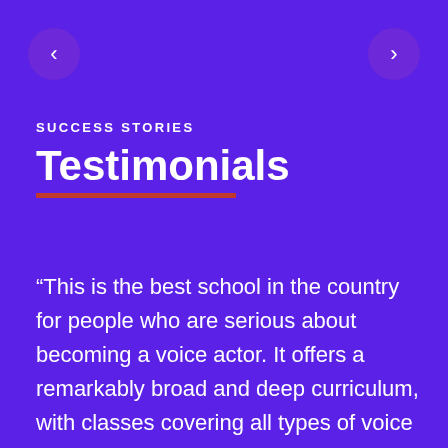[Figure (illustration): Left navigation arrow button — dark purple circular button with a left-pointing chevron (<) in white]
[Figure (illustration): Right navigation arrow button — dark purple circular button with a right-pointing chevron (>) in white]
SUCCESS STORIES
Testimonials
“This is the best school in the country for people who are serious about becoming a voice actor. It offers a remarkably broad and deep curriculum, with classes covering all types of voice acting work and at all levels. The teachers are accomplished working